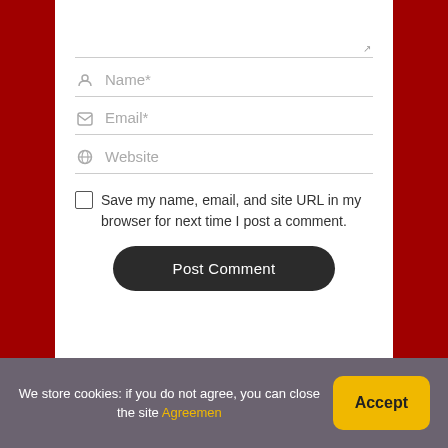Name*
Email*
Website
Save my name, email, and site URL in my browser for next time I post a comment.
Post Comment
We store cookies: if you do not agree, you can close the site Agreemen
Accept